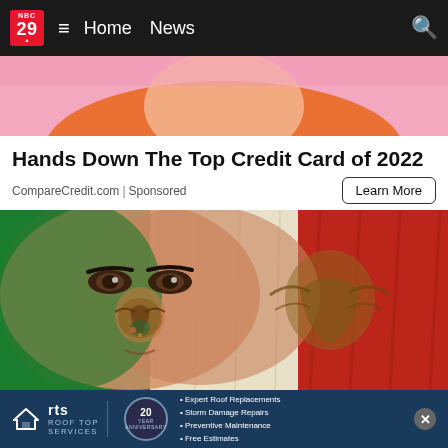NBC 29  ≡  Home  News  🔍
[Figure (photo): Cropped top portion showing pink and orange background with a person in an orange top, bottom half of face/shoulders visible]
Hands Down The Top Credit Card of 2022
CompareCredit.com | Sponsored
Learn More
[Figure (photo): Close-up of a woman's face painted with the Mexican flag colors (green, white, red) with the Mexican coat of arms eagle symbol painted on the nose/face area, with a wooden Mexican flag in the background]
[Figure (infographic): RTS Roof Top Services advertisement banner: RTS logo with house icon, 20 Year Anniversary badge, bullet points listing Expert Roof Replacements, Storm Damage Repairs, Preventive Maintenance, Free Estimates]